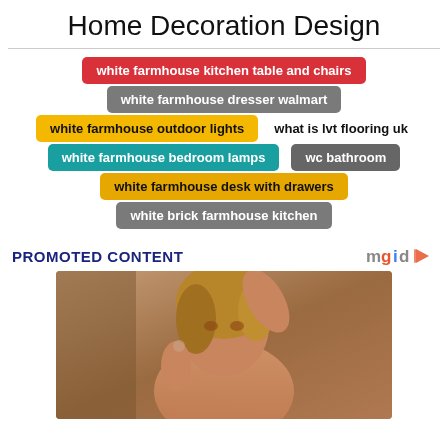Home Decoration Design
white farmhouse kitchen table and chairs
white farmhouse dresser walmart
white farmhouse outdoor lights
what is lvt flooring uk
white farmhouse bedroom lamps
wc bathroom
white farmhouse desk with drawers
white brick farmhouse kitchen
PROMOTED CONTENT
[Figure (photo): Woman posing with hand raised to head, promotional content image]